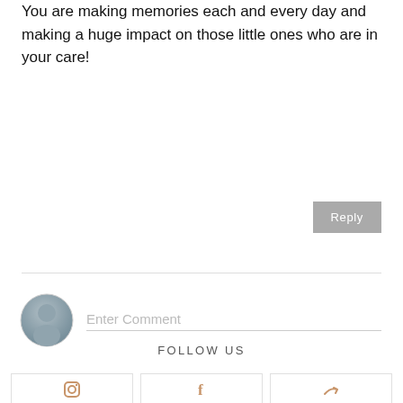You are making memories each and every day and making a huge impact on those little ones who are in your care!
Reply
Enter Comment
FOLLOW US
[Figure (illustration): Three social media icon boxes at the bottom showing partial icons in gold/amber color — Instagram, Facebook, and an arrow/share icon]
[Figure (illustration): User avatar circle icon in blue-grey gradient]